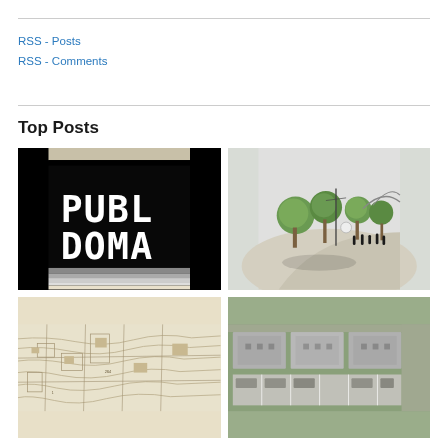RSS - Posts
RSS - Comments
Top Posts
[Figure (illustration): Pixelated black and white image showing text 'PUBL DOMA' (Public Domain) on black background with gray gradient border]
[Figure (illustration): 3D architectural rendering of a public park with trees, people, and curved structures]
[Figure (map): Topographic or city map with contour lines and street layouts in beige/cream tones]
[Figure (photo): Aerial/satellite view of an urban block showing building rooftops and parking lots in gray tones]